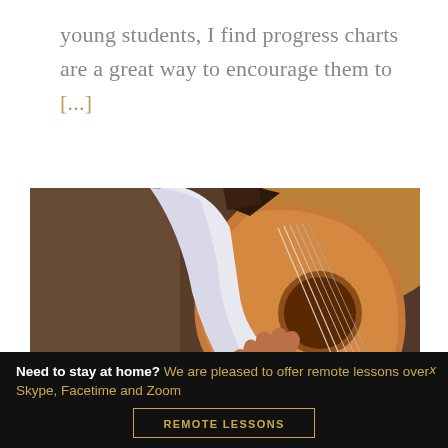young students, I find progress charts are a great way to encourage them to [...]
[Figure (photo): Close-up photograph of a person's hands playing a classical acoustic guitar, wearing a white shirt, with a blurred brown background.]
Need to stay at home? We are pleased to offer remote lessons over Skype, Facetime and Zoom
REMOTE LESSONS